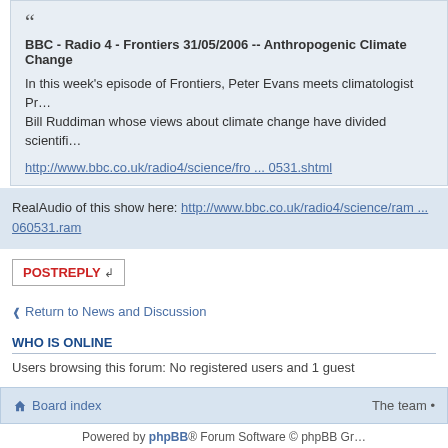BBC - Radio 4 - Frontiers 31/05/2006 -- Anthropogenic Climate Change
In this week's episode of Frontiers, Peter Evans meets climatologist Professor Bill Ruddiman whose views about climate change have divided scientifi...
http://www.bbc.co.uk/radio4/science/fro ... 0531.shtml
RealAudio of this show here: http://www.bbc.co.uk/radio4/science/ram ... 060531.ram
POST REPLY
Return to News and Discussion
WHO IS ONLINE
Users browsing this forum: No registered users and 1 guest
Board index
The team •
Powered by phpBB® Forum Software © phpBB Gr